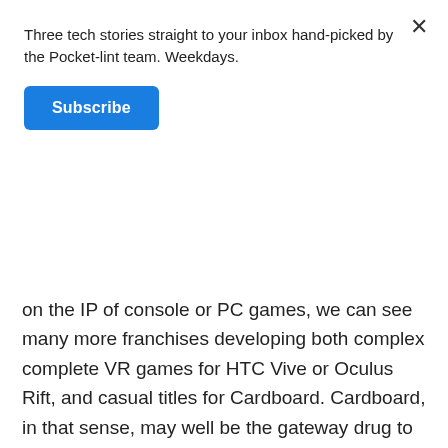Three tech stories straight to your inbox hand-picked by the Pocket-lint team. Weekdays.
Subscribe
on the IP of console or PC games, we can see many more franchises developing both complex complete VR games for HTC Vive or Oculus Rift, and casual titles for Cardboard. Cardboard, in that sense, may well be the gateway drug to a full-blown VR addiction.
If you're a VR fan, or just VR curious, then Cardboard is a great place to start. In some cases you won't be blown away. In some cases you'll find it irritating that developers haven't embraced better